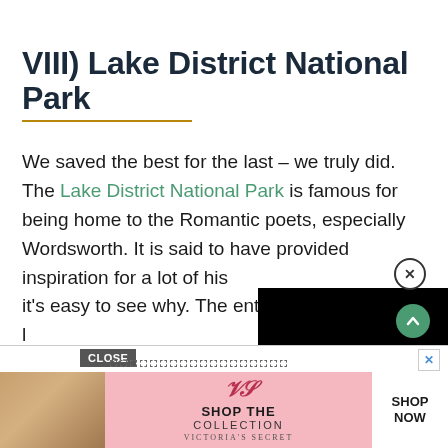VIII) Lake District National Park
We saved the best for the last – we truly did. The Lake District National Park is famous for being home to the Romantic poets, especially Wordsworth. It is said to have provided inspiration for a lot of [obscured] it's easy to see why. The entire [obscured] perfect cottages, fields full of da[obscured] and dazzling lakes. The panora[obscured] National Park will leave you ha[obscured] blame you if you stay on for a week (or two) 🙂
[Figure (other): Black overlay/video player obscuring part of the article text]
[Figure (other): Advertisement banner: Victoria's Secret - Shop The Collection - Shop Now, with close button]